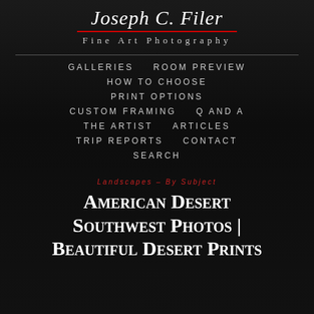Joseph C. Filer
Fine Art Photography
GALLERIES
ROOM PREVIEW
HOW TO CHOOSE
PRINT OPTIONS
CUSTOM FRAMING
Q AND A
THE ARTIST
ARTICLES
TRIP REPORTS
CONTACT
SEARCH
LANDSCAPES – By Subject
American Desert Southwest Photos | Beautiful Desert Prints